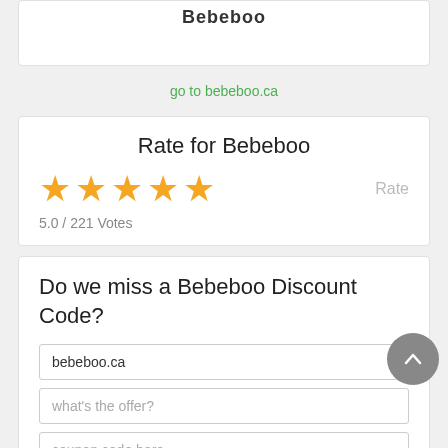Bebeboo
go to bebeboo.ca
Rate for Bebeboo
5.0 / 221 Votes
Do we miss a Bebeboo Discount Code?
bebeboo.ca
what's the offer?
coupon code here...
details...